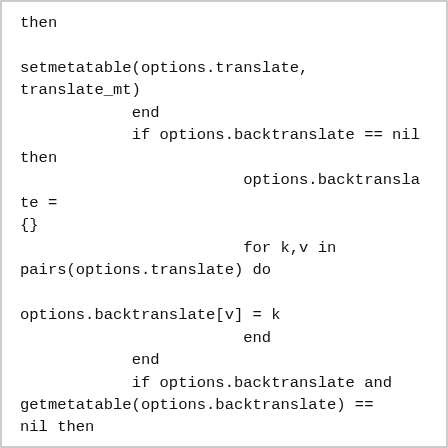then

setmetatable(options.translate,
translate_mt)
            end
            if options.backtranslate == nil
then
                        options.backtranslate =
{}
                        for k,v in
pairs(options.translate) do

options.backtranslate[v] = k
                        end
            end
            if options.backtranslate and
getmetatable(options.backtranslate) ==
nil then